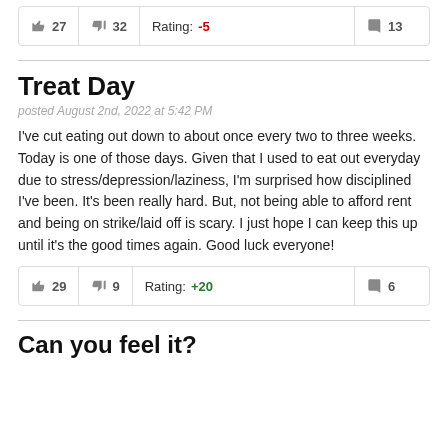| 👍 27 | 👎 32 | Rating: -5 | 💬 13 |
| --- | --- | --- | --- |
Treat Day
posted August 2nd, 2022 at 5:42 PM
I've cut eating out down to about once every two to three weeks. Today is one of those days. Given that I used to eat out everyday due to stress/depression/laziness, I'm surprised how disciplined I've been. It's been really hard. But, not being able to afford rent and being on strike/laid off is scary. I just hope I can keep this up until it's the good times again. Good luck everyone!
| 👍 29 | 👎 9 | Rating: +20 | 💬 6 |
| --- | --- | --- | --- |
Can you feel it?